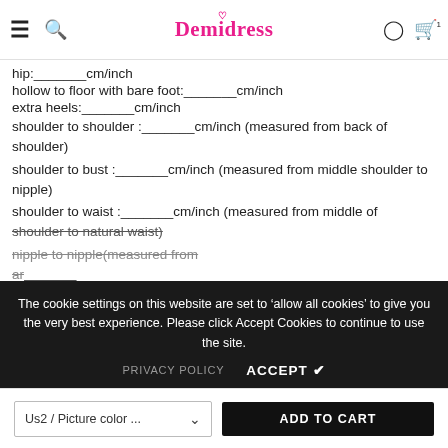Demidress
hip:_______cm/inch
hollow to floor with bare foot:_______cm/inch
extra heels:_______cm/inch
shoulder to shoulder :_______cm/inch (measured from back of shoulder)
shoulder to bust :_______cm/inch (measured from middle shoulder to nipple)
shoulder to waist :_______cm/inch (measured from middle of shoulder to natural waist)
nipple to nipple(measured from
ar...
Sleeve length _____ cm/inch
The cookie settings on this website are set to 'allow all cookies' to give you the very best experience. Please click Accept Cookies to continue to use the site.
PRIVACY POLICY   ACCEPT ✔
Us2 / Picture color ...   ADD TO CART